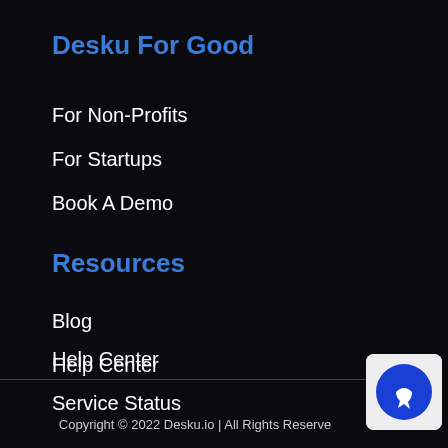Desku For Good
For Non-Profits
For Startups
Book A Demo
Resources
Blog
Help Center
Service Status
Pricing
Copyright © 2022 Desku.io | All Rights Reserve